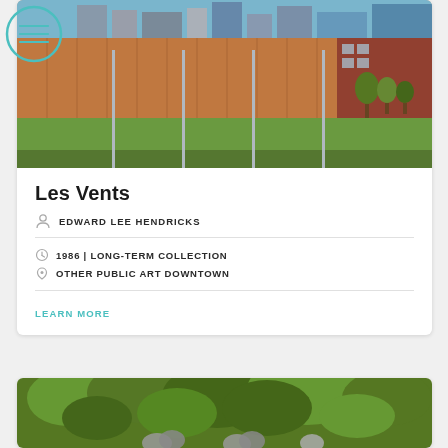[Figure (photo): Outdoor photo showing modern brick and copper-panel building facade with tall metal poles/sculptures on green lawn, city buildings in background under blue sky]
Les Vents
EDWARD LEE HENDRICKS
1986 | LONG-TERM COLLECTION
OTHER PUBLIC ART DOWNTOWN
LEARN MORE
[Figure (photo): Outdoor photo showing stone or concrete sculptures of figures among dense green foliage/trees]